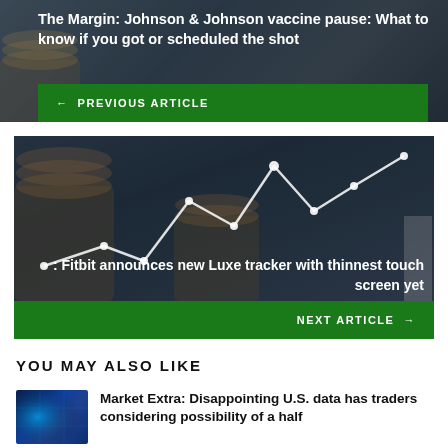[Figure (photo): Dark background image with stacked coins and financial theme, showing article navigation for previous article]
The Margin: Johnson & Johnson vaccine pause: What to know if you got or scheduled the shot
← PREVIOUS ARTICLE
[Figure (photo): Dark financial background with stacked coins and glowing line chart overlay, showing article navigation for next article]
: Fitbit announces new Luxe tracker with thinnest touch screen yet
NEXT ARTICLE →
YOU MAY ALSO LIKE
[Figure (photo): Thumbnail image with blue glowing financial data visualization]
Market Extra: Disappointing U.S. data has traders considering possibility of a half